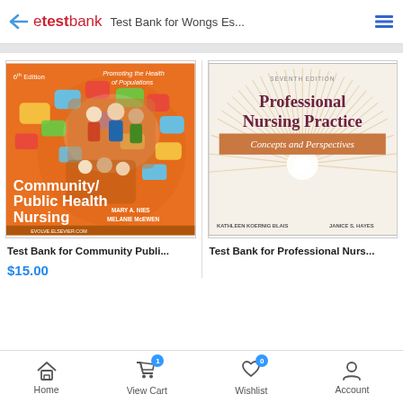etestbank  Test Bank for Wongs Es...
[Figure (illustration): Book cover: Community/Public Health Nursing, 6th Edition, Promoting the Health of Populations, Mary A. Nies, Melanie McEwen. Orange cover with speech bubbles and people.]
Test Bank for Community Publi...
$15.00
[Figure (illustration): Book cover: Professional Nursing Practice, Concepts and Perspectives, 7th Edition, Kathleen Koernig Blais, Janice S. Hayes. Cream/tan cover with sunburst design.]
Test Bank for Professional Nurs...
Home  View Cart  Wishlist  Account